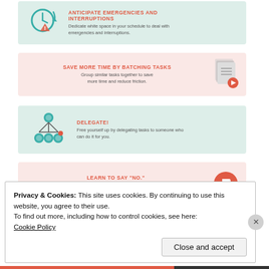[Figure (infographic): Tip card: ANTICIPATE EMERGENCIES AND INTERRUPTIONS - clock and warning icon (teal background). Text: Dedicate white space in your schedule to deal with emergencies and interruptions.]
[Figure (infographic): Tip card: SAVE MORE TIME BY BATCHING TASKS - stacked pages icon (pink background). Text: Group similar tasks together to save more time and reduce friction.]
[Figure (infographic): Tip card: DELEGATE! - org chart with people icons (teal background). Text: Free yourself up by delegating tasks to someone who can do it for you.]
[Figure (infographic): Tip card: LEARN TO SAY "NO." - thumbs down in red circle icon (pink background). Text: When your plate is already full, it's okay to decline to opportunities if it's going to take a toll on your business growth.]
[Figure (infographic): Partial tip card at bottom: SET PRIORITIES WITH THE ABCDE METHOD (pink background, partially visible)]
Privacy & Cookies: This site uses cookies. By continuing to use this website, you agree to their use. To find out more, including how to control cookies, see here: Cookie Policy
Close and accept